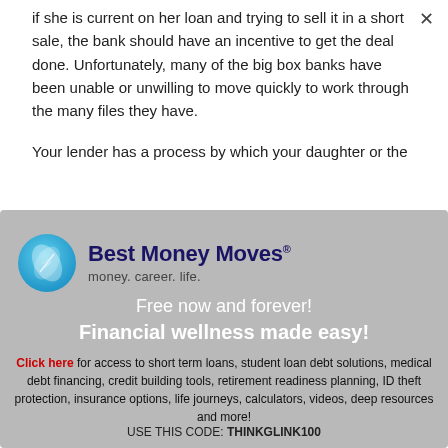if she is current on her loan and trying to sell it in a short sale, the bank should have an incentive to get the deal done. Unfortunately, many of the big box banks have been unable or unwilling to move quickly to work through the many files they have.
Your lender has a process by which your daughter or the
[Figure (logo): Best Money Moves logo with blue leaf circle icon, company name in dark navy bold text, and tagline 'money. career. life.']
Free now and forever!
Financial wellness made easy!
Click here for access to short term loans, student loan debt solutions, medical debt financing, credit building tools, retirement readiness planning, ID theft protection, insurance options, life journeys, calculators, videos, deep resources and more!
USE THIS CODE: THINKGLINK100